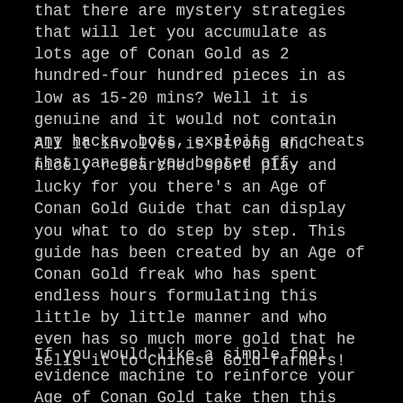that there are mystery strategies that will let you accumulate as lots age of Conan Gold as 2 hundred-four hundred pieces in as low as 15-20 mins? Well it is genuine and it would not contain any hacks, bots, exploits or cheats that can get you booted off.
All it involves is strong and nicely researched sport play and lucky for you there's an Age of Conan Gold Guide that can display you what to do step by step. This guide has been created by an Age of Conan Gold freak who has spent endless hours formulating this little by little manner and who even has so much more gold that he sells it to Chinese Gold farmers!
If you would like a simple fool evidence machine to reinforce your Age of Conan Gold take then this guide is without a doubt for you.